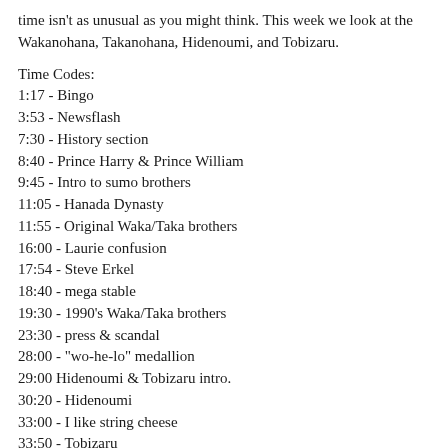time isn't as unusual as you might think. This week we look at the Wakanohana, Takanohana, Hidenoumi, and Tobizaru.
Time Codes:
1:17 - Bingo
3:53 - Newsflash
7:30 - History section
8:40 - Prince Harry & Prince William
9:45 - Intro to sumo brothers
11:05 - Hanada Dynasty
11:55 - Original Waka/Taka brothers
16:00 - Laurie confusion
17:54 - Steve Erkel
18:40 - mega stable
19:30 - 1990's Waka/Taka brothers
23:30 - press & scandal
28:00 - "wo-he-lo" medallion
29:00 Hidenoumi & Tobizaru intro.
30:20 - Hidenoumi
33:00 - I like string cheese
33:50 - Tobizaru
41:30 - I like cake bit
42:13 - wrap up
Best quote from an episode about sumo brothers? "I like string